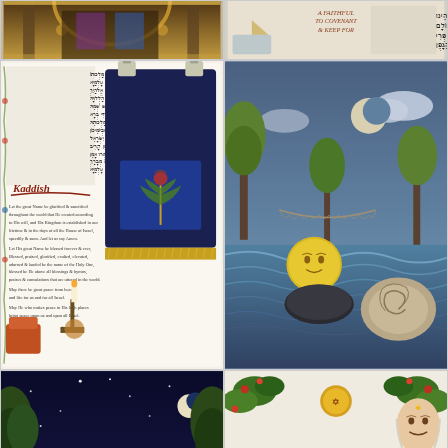[Figure (illustration): Top-left partial view of an ornate illustrated manuscript page with decorative arch and golden/dark tones]
[Figure (illustration): Top-right partial view of illustrated manuscript with Hebrew text, covenant theme with sailing ship and Hebrew lettering]
[Figure (illustration): Middle-left: illuminated Jewish prayer book page showing Kaddish prayer in Hebrew and English, with Torah ark, candlestick, and decorative imagery]
[Figure (illustration): Middle-right: surreal illustration of sea scene with moon-faced figure in water, snail shells, trees, and crescent moon in twilight sky]
[Figure (illustration): Bottom-left: Modeh Ani morning prayer page with woman sleeping in an ornate bed under night sky with trees, and floral border decorations]
[Figure (illustration): Bottom-right: Jewish blessing illuminated page with Hebrew text, English translation 'Blessed Are You Source of Life Who Graciously Bestows Favor Upon The Unworthy, even as you Bestow Favor Upon Me', with decorative foliage, face portrait, and large pitcher/ewer]